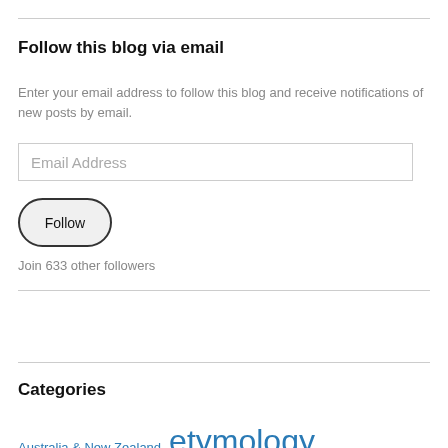Follow this blog via email
Enter your email address to follow this blog and receive notifications of new posts by email.
Email Address
Follow
Join 633 other followers
[Figure (other): WordPress Follow button with text 'Follow word histories' and a count badge showing 470]
Categories
Australia & New Zealand  etymology